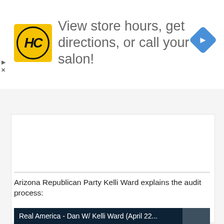[Figure (other): Advertisement banner for Hair Club (HC) salon locator. Yellow square logo with HC in italic bold, text: 'View store hours, get directions, or call your salon!' with blue navigation diamond icon on the right.]
Arizona Republican Party Kelli Ward explains the audit process:
[Figure (screenshot): Video thumbnail with dark blue background showing 'Real America - Dan W/ Kelli Ward (April 22...' in white text]